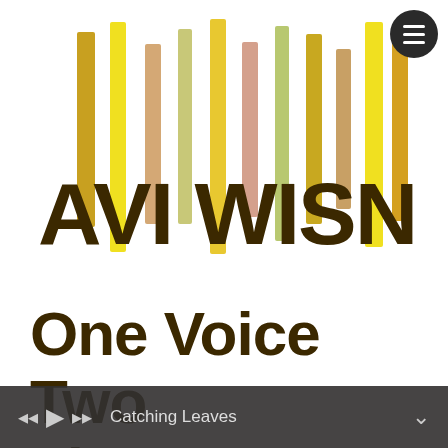[Figure (logo): Avi Wisnia logo with colorful vertical bars (yellow, gold, tan, peach) behind stylized dark brown 'AVI WISNIA' text]
One Voice Two Lives
[Figure (screenshot): Media player bar at bottom showing back, play, forward controls and track name 'Catching Leaves' with a chevron down icon]